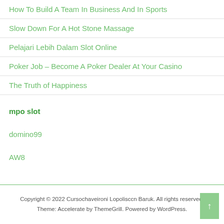How To Build A Team In Business And In Sports
Slow Down For A Hot Stone Massage
Pelajari Lebih Dalam Slot Online
Poker Job – Become A Poker Dealer At Your Casino
The Truth of Happiness
mpo slot
domino99
AW8
Copyright © 2022 Cursochaveironi Lopolisccn Baruk. All rights reserved. Theme: Accelerate by ThemeGrill. Powered by WordPress.